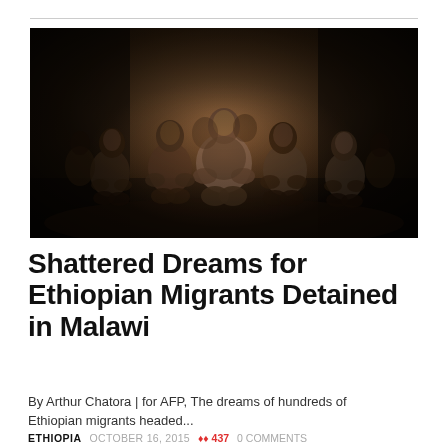[Figure (photo): Group of Ethiopian migrants, mostly young men, crouching and sitting closely together in a dimly lit space. The subjects look somber and tired. Dark, moody lighting with warm tones.]
Shattered Dreams for Ethiopian Migrants Detained in Malawi
By Arthur Chatora | for AFP, The dreams of hundreds of Ethiopian migrants headed...
ETHIOPIA   OCTOBER 16, 2015   ♦♦ 437   0 COMMENTS